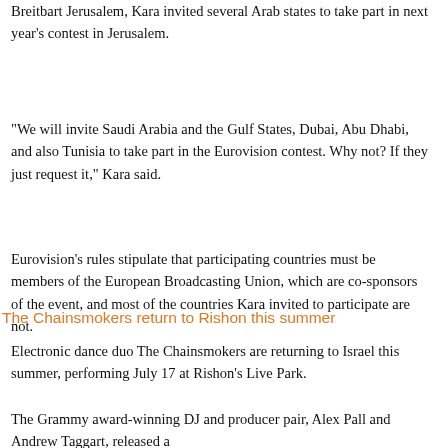Breitbart Jerusalem, Kara invited several Arab states to take part in next year's contest in Jerusalem.
“We will invite Saudi Arabia and the Gulf States, Dubai, Abu Dhabi, and also Tunisia to take part in the Eurovision contest. Why not? If they just request it,” Kara said.
Eurovision’s rules stipulate that participating countries must be members of the European Broadcasting Union, which are co-sponsors of the event, and most of the countries Kara invited to participate are not.
The Chainsmokers return to Rishon this summer
Electronic dance duo The Chainsmokers are returning to Israel this summer, performing July 17 at Rishon’s Live Park.
The Grammy award-winning DJ and producer pair, Alex Pall and Andrew Taggart, released a